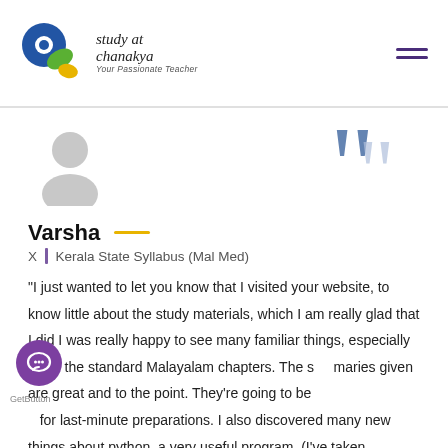study at chanakya — Your Passionate Teacher
[Figure (photo): Grey silhouette avatar of a person (no photo available) and a large decorative quotation mark in blue/purple on the right]
Varsha
X | Kerala State Syllabus (Mal Med)
"I just wanted to let you know that I visited your website, to know little about the study materials, which I am really glad that I did I was really happy to see many familiar things, especially the X the standard Malayalam chapters. The summaries given are great and to the point. They're going to be helpful for last-minute preparations. I also discovered many new things about python, a very useful program. (I've taken